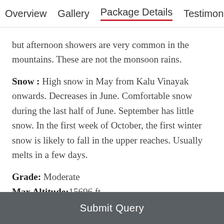Overview  Gallery  Package Details  Testimonials
but afternoon showers are very common in the mountains. These are not the monsoon rains.
Snow : High snow in May from Kalu Vinayak onwards. Decreases in June. Comfortable snow during the last half of June. September has little snow. In the first week of October, the first winter snow is likely to fall in the upper reaches. Usually melts in a few days.
Grade: Moderate
Max Altitude:15696 ft.
Approx Trekking Km: 50 Kms.
Submit Query